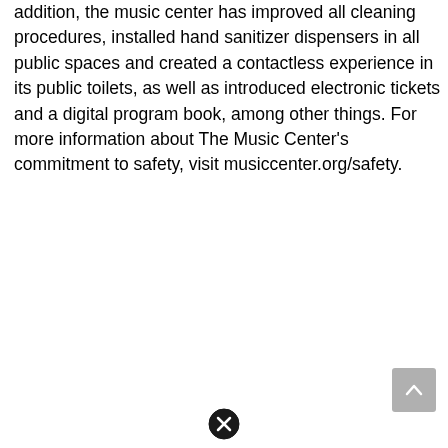addition, the music center has improved all cleaning procedures, installed hand sanitizer dispensers in all public spaces and created a contactless experience in its public toilets, as well as introduced electronic tickets and a digital program book, among other things. For more information about The Music Center's commitment to safety, visit musiccenter.org/safety.
[Figure (other): Gray scroll-to-top button with upward chevron arrow in bottom-right corner]
[Figure (other): Black circle with X (close/cancel) icon at bottom center]